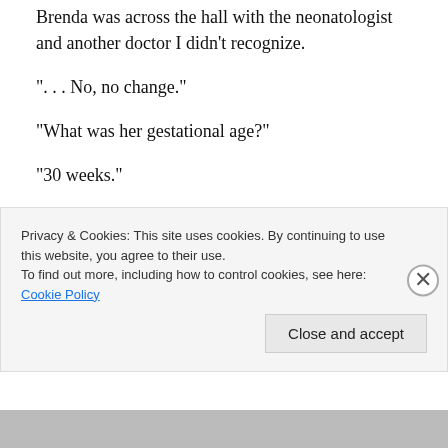Brenda was across the hall with the neonatologist and another doctor I didn't recognize.
“. . . No, no change.”
“What was her gestational age?”
“30 weeks.”
They’re talking about that little girl.  The one across the hall.  I focus on the top of Maddie’s head.  I hear a sigh.
“So it’s been a week since her last change in head circumference?”
Privacy & Cookies: This site uses cookies. By continuing to use this website, you agree to their use.
To find out more, including how to control cookies, see here: Cookie Policy